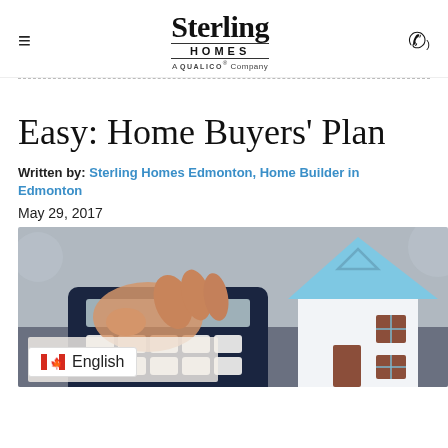Sterling Homes — A QUALICO Company
Easy: Home Buyers' Plan
Written by: Sterling Homes Edmonton, Home Builder in Edmonton
May 29, 2017
[Figure (photo): A person using a calculator on a desk beside a small paper/cardboard model of a house with a blue roof, illustrating home buying financial planning.]